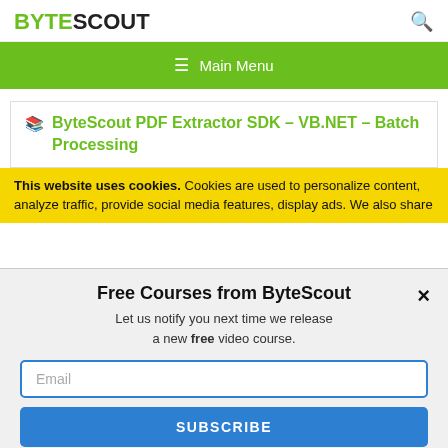BYTESCOUT
≡  Main Menu
ByteScout PDF Extractor SDK – VB.NET – Batch Processing
This website uses cookies. Cookies are used to personalize content, analyze traffic, provide social media features, display ads. We also share
Free Courses from ByteScout
Let us notify you next time we release a new free video course.
Email
SUBSCRIBE